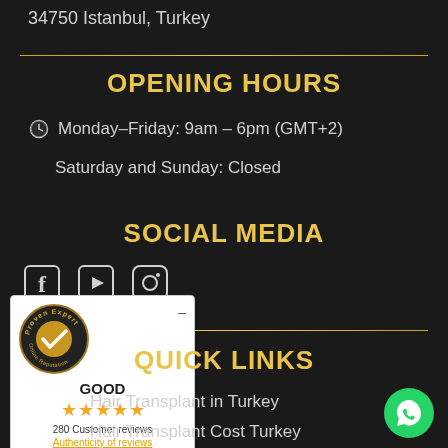34750 Istanbul, Turkey
OPENING HOURS
Monday–Friday: 9am – 6pm (GMT+2)
Saturday and Sunday: Closed
SOCIAL MEDIA
[Figure (logo): Social media icons: Facebook, YouTube, Instagram]
[Figure (infographic): ProvenExpert badge showing GOOD rating, 4.5 stars, 280 Customer reviews, Authenticity of reviews label]
QUICK LINKS
Hair Transplant in Turkey
Hair Transplant Cost Turkey
[Figure (logo): WhatsApp contact button (green circle with phone icon)]